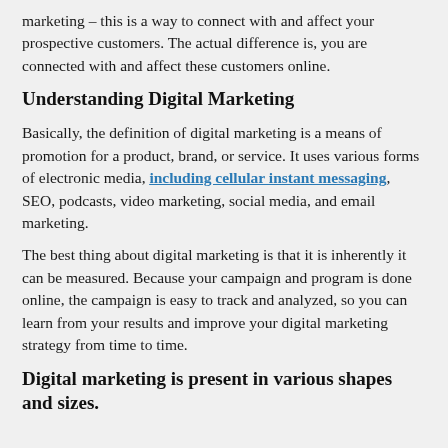marketing – this is a way to connect with and affect your prospective customers. The actual difference is, you are connected with and affect these customers online.
Understanding Digital Marketing
Basically, the definition of digital marketing is a means of promotion for a product, brand, or service. It uses various forms of electronic media, including cellular instant messaging, SEO, podcasts, video marketing, social media, and email marketing.
The best thing about digital marketing is that it is inherently it can be measured. Because your campaign and program is done online, the campaign is easy to track and analyzed, so you can learn from your results and improve your digital marketing strategy from time to time.
Digital marketing is present in various shapes and sizes.